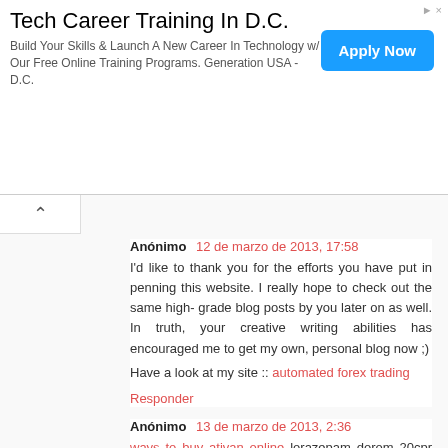[Figure (other): Advertisement banner for Tech Career Training In D.C. with Apply Now button]
Anónimo 12 de marzo de 2013, 17:58
I'd like to thank you for the efforts you have put in penning this website. I really hope to check out the same high-grade blog posts by you later on as well. In truth, your creative writing abilities has encouraged me to get my own, personal blog now ;)

Have a look at my site :: automated forex trading
Responder
Anónimo 13 de marzo de 2013, 2:36
ways to buy ativan online lorazepam dorom 20cpr 1mg - buy ativan mastercard
Responder